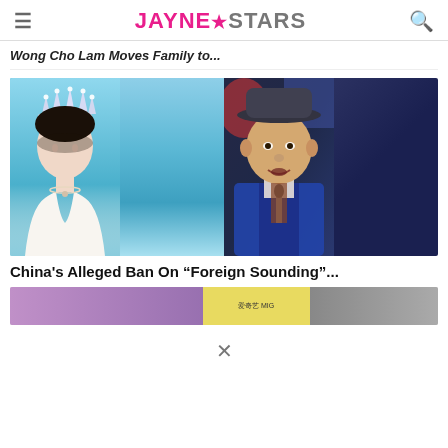JAYNE★STARS
Wong Cho Lam Moves Family to...
[Figure (photo): Split image of a young woman wearing a crown and white off-shoulder dress on the left, and a heavyset Asian man in a suit and hat speaking into a microphone on the right.]
China's Alleged Ban On "Foreign Sounding"...
[Figure (photo): Partial view of a TV show screenshot, partially cut off at bottom of page.]